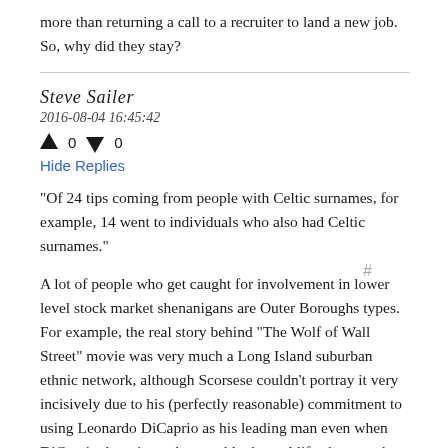more than returning a call to a recruiter to land a new job. So, why did they stay?
Steve Sailer
2016-08-04 16:45:42
▲ 0 ▼ 0
Hide Replies
"Of 24 tips coming from people with Celtic surnames, for example, 14 went to individuals who also had Celtic surnames."
A lot of people who get caught for involvement in lower level stock market shenanigans are Outer Boroughs types. For example, the real story behind "The Wolf of Wall Street" movie was very much a Long Island suburban ethnic network, although Scorsese couldn't portray it very incisively due to his (perfectly reasonable) commitment to using Leonardo DiCaprio as his leading man even when DiCaprio doesn't much resemble the real life character he is playing.